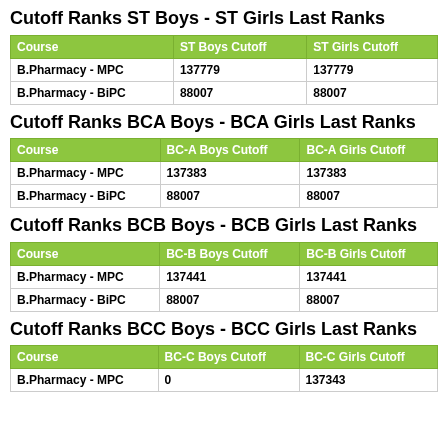Cutoff Ranks ST Boys - ST Girls Last Ranks
| Course | ST Boys Cutoff | ST Girls Cutoff |
| --- | --- | --- |
| B.Pharmacy - MPC | 137779 | 137779 |
| B.Pharmacy - BiPC | 88007 | 88007 |
Cutoff Ranks BCA Boys - BCA Girls Last Ranks
| Course | BC-A Boys Cutoff | BC-A Girls Cutoff |
| --- | --- | --- |
| B.Pharmacy - MPC | 137383 | 137383 |
| B.Pharmacy - BiPC | 88007 | 88007 |
Cutoff Ranks BCB Boys - BCB Girls Last Ranks
| Course | BC-B Boys Cutoff | BC-B Girls Cutoff |
| --- | --- | --- |
| B.Pharmacy - MPC | 137441 | 137441 |
| B.Pharmacy - BiPC | 88007 | 88007 |
Cutoff Ranks BCC Boys - BCC Girls Last Ranks
| Course | BC-C Boys Cutoff | BC-C Girls Cutoff |
| --- | --- | --- |
| B.Pharmacy - MPC | 0 | 137343 |